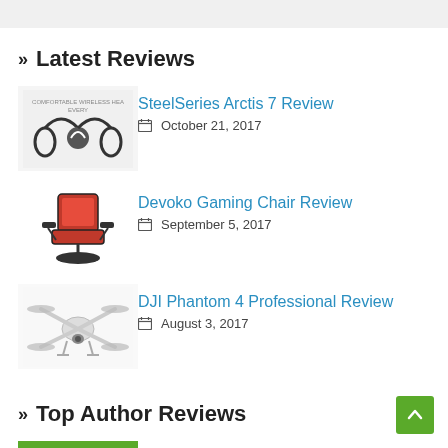» Latest Reviews
SteelSeries Arctis 7 Review — October 21, 2017
Devoko Gaming Chair Review — September 5, 2017
DJI Phantom 4 Professional Review — August 3, 2017
» Top Author Reviews
A2 Hosting Review ★★★★★
TorGuard Review ★★★★★